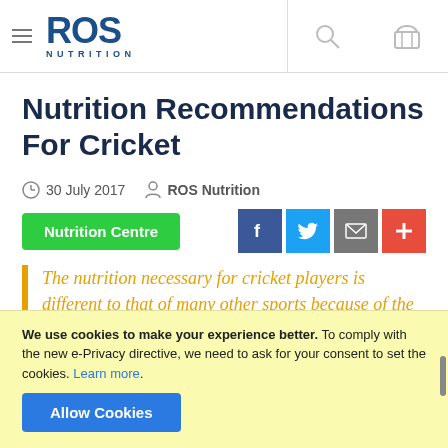ROS NUTRITION — site header with logo, search and basket icons
Nutrition Recommendations For Cricket
30 July 2017  ROS Nutrition
Nutrition Centre
The nutrition necessary for cricket players is different to that of many other sports because of the longer duration and mix of
We use cookies to make your experience better. To comply with the new e-Privacy directive, we need to ask for your consent to set the cookies. Learn more. Allow Cookies